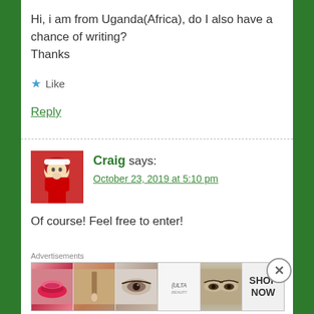Hi, i am from Uganda(Africa), do I also have a chance of writing?
Thanks
★ Like
Reply
Craig says:
October 23, 2019 at 5:10 pm
[Figure (photo): Avatar photo of Santa Claus holding a glowing light]
Of course! Feel free to enter!
Advertisements
[Figure (photo): Ulta Beauty advertisement banner showing makeup looks including lips, brush, eye, Ulta logo, eyes, and SHOP NOW text]